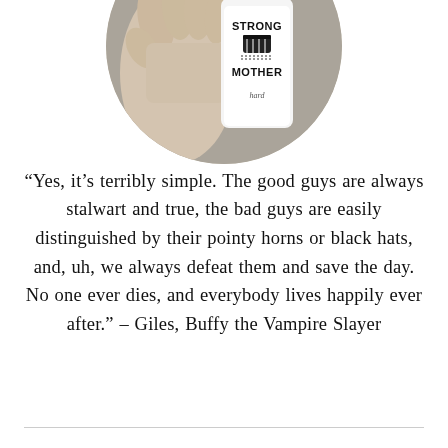[Figure (photo): A circular cropped photo of a hand holding a white tumbler/mug with text 'STRONG MOTHER hard' and a fist graphic printed on it, against a grey background.]
“Yes, it’s terribly simple. The good guys are always stalwart and true, the bad guys are easily distinguished by their pointy horns or black hats, and, uh, we always defeat them and save the day. No one ever dies, and everybody lives happily ever after.” – Giles, Buffy the Vampire Slayer